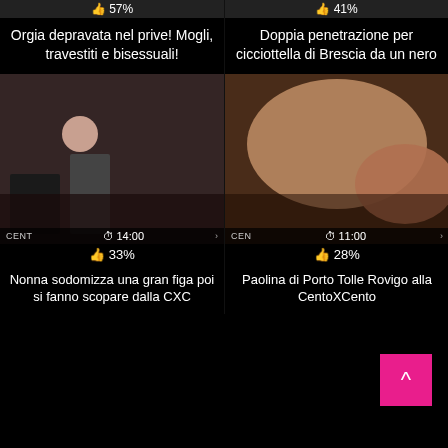[Figure (screenshot): Top-left video thumbnail with 57% like bar, title: Orgia depravata nel prive! Mogli, travestiti e bisessuali!]
[Figure (screenshot): Top-right video thumbnail with 41% like bar, title: Doppia penetrazione per cicciottella di Brescia da un nero]
[Figure (screenshot): Bottom-left video thumbnail showing group scene, duration 14:00, watermark CENT, 33% likes, title: Nonna sodomizza una gran figa poi si fanno scopare dalla CXC]
[Figure (screenshot): Bottom-right video thumbnail closeup, duration 11:00, watermark CEN, 28% likes, title: Paolina di Porto Tolle Rovigo alla CentoXCento]